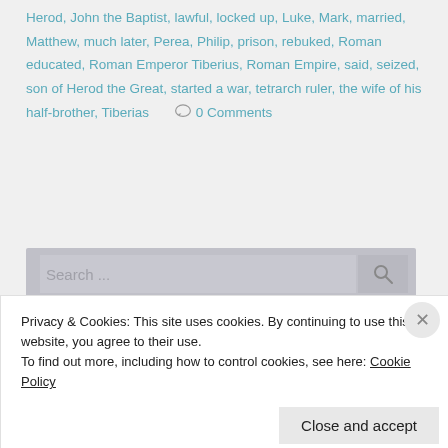Herod, John the Baptist, lawful, locked up, Luke, Mark, married, Matthew, much later, Perea, Philip, prison, rebuked, Roman educated, Roman Emperor Tiberius, Roman Empire, said, seized, son of Herod the Great, started a war, tetrarch ruler, the wife of his half-brother, Tiberias  0 Comments
[Figure (other): Search bar with magnifying glass icon on grey background]
Privacy & Cookies: This site uses cookies. By continuing to use this website, you agree to their use.
To find out more, including how to control cookies, see here: Cookie Policy
Close and accept